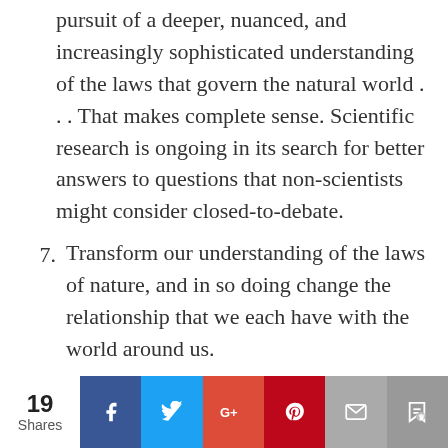pursuit of a deeper, nuanced, and increasingly sophisticated understanding of the laws that govern the natural world . . . That makes complete sense. Scientific research is ongoing in its search for better answers to questions that non-scientists might consider closed-to-debate.
7. Transform our understanding of the laws of nature, and in so doing change the relationship that we each have with the world around us.
I can’t find a substantive difference between what we stereotypically call “art” and that which we
19 Shares | Facebook | Twitter | Google+ | Pinterest | Email | Bookmark